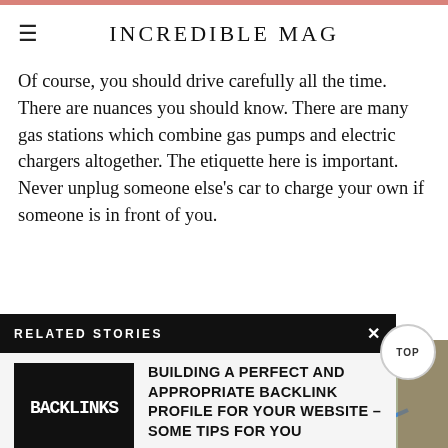INCREDIBLE MAG
Of course, you should drive carefully all the time. There are nuances you should know. There are many gas stations which combine gas pumps and electric chargers altogether. The etiquette here is important. Never unplug someone else's car to charge your own if someone is in front of you.
RELATED STORIES
BUILDING A PERFECT AND APPROPRIATE BACKLINK PROFILE FOR YOUR WEBSITE – SOME TIPS FOR YOU
...
[Figure (photo): Backlinks chalkboard thumbnail image]
[Figure (photo): Electric car charging at station, right side photo]
[Figure (photo): Bottom strip photo of electric vehicle charging]